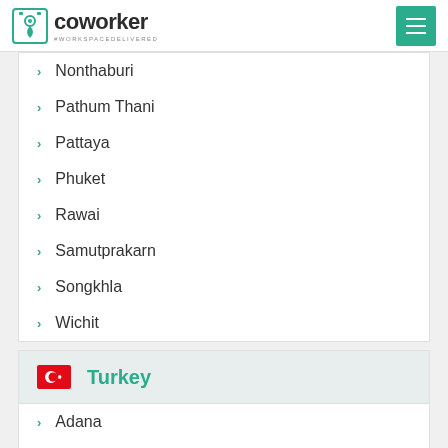coworker — #WORKSPACEDELIVERED
Nonthaburi
Pathum Thani
Pattaya
Phuket
Rawai
Samutprakarn
Songkhla
Wichit
Turkey
Adana
Ankara
Antalya
Bodrum